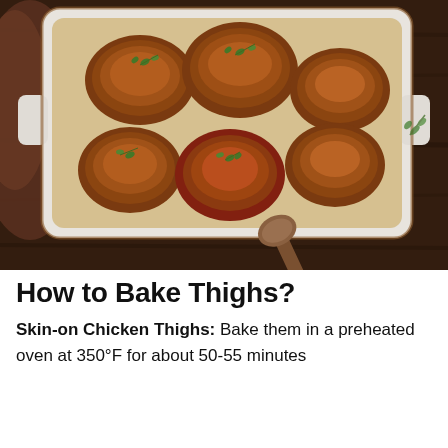[Figure (photo): Overhead photo of golden-brown baked chicken thighs in a white rectangular ceramic baking dish, garnished with fresh thyme, sitting in golden juices, on a dark wooden surface with a brown cloth and wooden spoon beside the dish.]
How to Bake Thighs?
Skin-on Chicken Thighs: Bake them in a preheated oven at 350°F for about 50-55 minutes